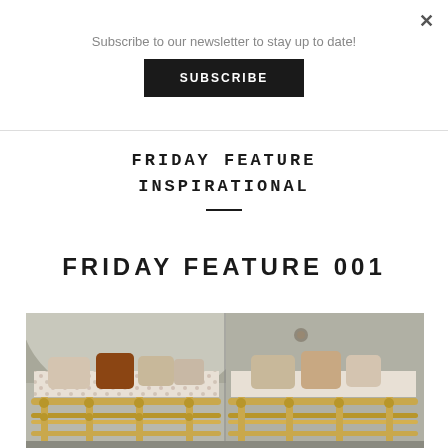Subscribe to our newsletter to stay up to date!
SUBSCRIBE
FRIDAY FEATURE INSPIRATIONAL
FRIDAY FEATURE 001
[Figure (photo): Interior photo of a bunk bed with brass/gold metal frame, patterned bedding with earth tones, and decorative pillows, in a room with white arched ceiling.]